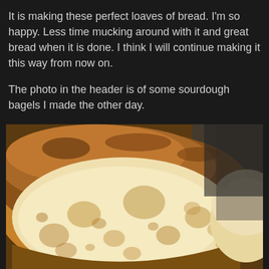It is making these perfect loaves of bread. I'm so happy. Less time mucking around with it and great bread when it is done. I think I will continue making it this way from now on.
The photo in the header is of some sourdough bagels I made the other day.
[Figure (photo): Close-up photo of a sliced sourdough loaf showing a golden-brown crust and an open, airy crumb with large irregular holes. A second partial loaf is visible to the right. The bread sits on what appears to be a wooden surface.]